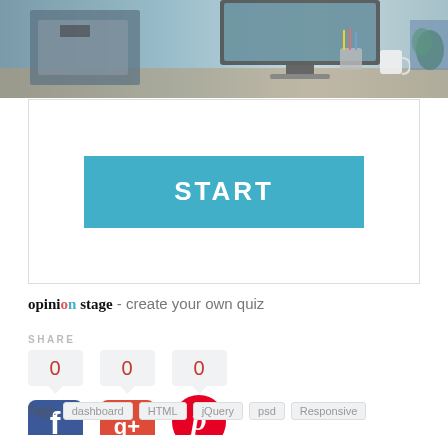[Figure (photo): Office desk scene with monitor, pencils in cup, coffee cup, and plant in background]
[Figure (screenshot): White card with teal START button]
opinion stage - create your own quiz
SHARE
[Figure (infographic): Social share counters showing 0 for Facebook, Google+, and Pinterest]
[Figure (infographic): Social media icons: Facebook, Google+, Pinterest]
Tags: dashboard HTML jQuery psd Responsive
NEXT STORY